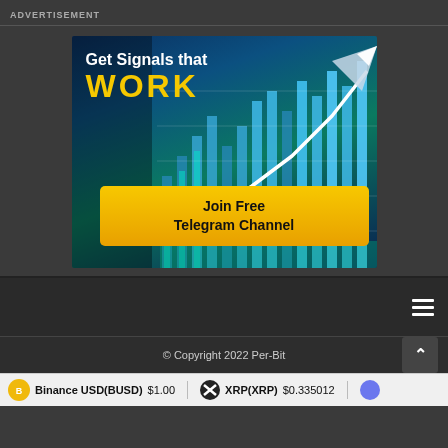ADVERTISEMENT
[Figure (illustration): Advertisement banner showing a financial chart with rising bars and a large upward arrow. Text reads 'Get Signals that WORK' with a yellow button 'Join Free Telegram Channel']
© Copyright 2022 Per-Bit
Binance USD(BUSD) $1.00   XRP(XRP) $0.335012